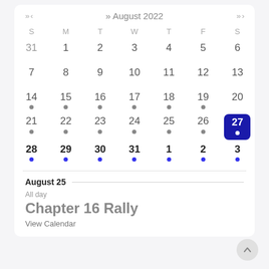[Figure (screenshot): A calendar widget showing August 2022 with navigation arrows, day-of-week headers (S M T W T F S), dates for the month, dot event indicators (gray for Aug 14-26 range, blue for Aug 28-Sep 3 range), and today highlighted as Aug 27 in a blue rounded square. Below the calendar is an event section showing August 25 with an all-day event titled 'Chapter 16 Rally' and a 'View Calendar' link.]